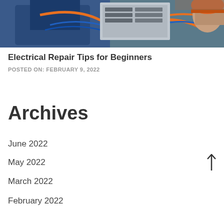[Figure (photo): Two workers in blue uniforms and safety gear working on an electrical panel with orange and blue wires]
Electrical Repair Tips for Beginners
POSTED ON: FEBRUARY 9, 2022
Archives
June 2022
May 2022
March 2022
February 2022